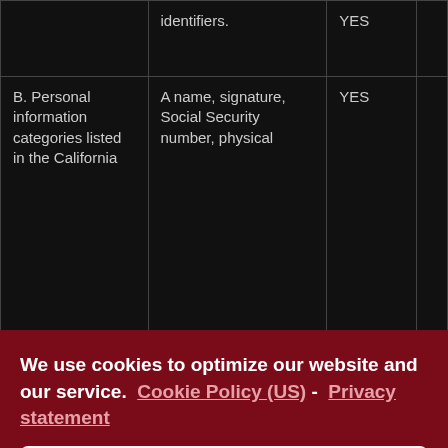| Category | Examples | Collected |  |
| --- | --- | --- | --- |
|  | identifiers. | YES |  |
| B. Personal information categories listed in the California | A name, signature, Social Security number, physical | YES |  |
|  | identification card number, insurance policy number, education, employment, employment |  |  |
We use cookies to optimize our website and our service.  Cookie Policy (US)  -  Privacy statement
Accept